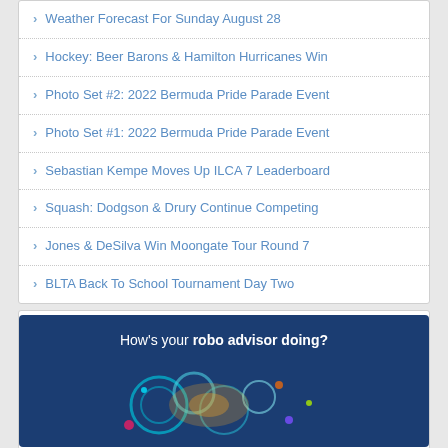Weather Forecast For Sunday August 28
Hockey: Beer Barons & Hamilton Hurricanes Win
Photo Set #2: 2022 Bermuda Pride Parade Event
Photo Set #1: 2022 Bermuda Pride Parade Event
Sebastian Kempe Moves Up ILCA 7 Leaderboard
Squash: Dodgson & Drury Continue Competing
Jones & DeSilva Win Moongate Tour Round 7
BLTA Back To School Tournament Day Two
[Figure (illustration): Advertisement banner with dark blue background reading 'How's your robo advisor doing?' with colorful robot/gear graphic elements below]